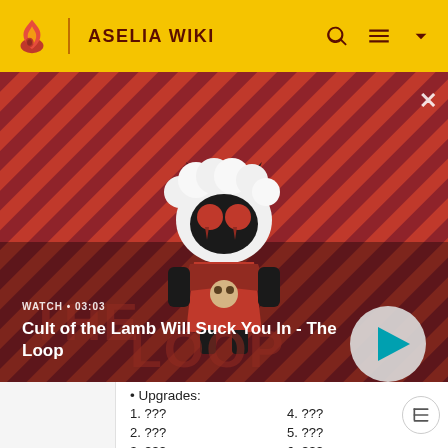ASELIA WIKI
[Figure (screenshot): Cult of the Lamb video thumbnail with anime-style lamb character on striped red/dark background, showing watch time 03:03]
WATCH • 03:03
Cult of the Lamb Will Suck You In - The Loop
Upgrades:
1. ???
2. ???
3. ???
4. ???
5. ???
6. ???